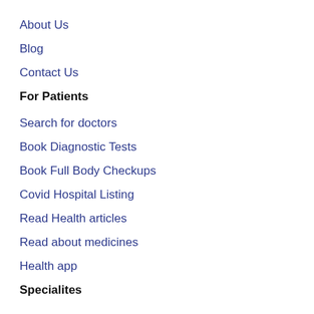About Us
Blog
Contact Us
For Patients
Search for doctors
Book Diagnostic Tests
Book Full Body Checkups
Covid Hospital Listing
Read Health articles
Read about medicines
Health app
Specialites